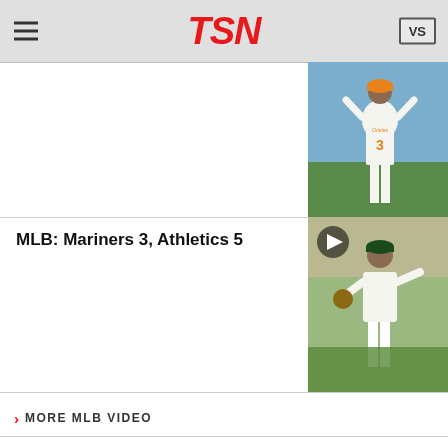TSN
[Figure (photo): Baltimore Orioles player number 3 in white uniform with arms raised]
MLB: Mariners 3, Athletics 5
[Figure (photo): Oakland Athletics player catching or fielding with play button overlay]
MORE MLB VIDEO
Trade Tracker
[Figure (photo): Baseball bats and baseballs behind a net]